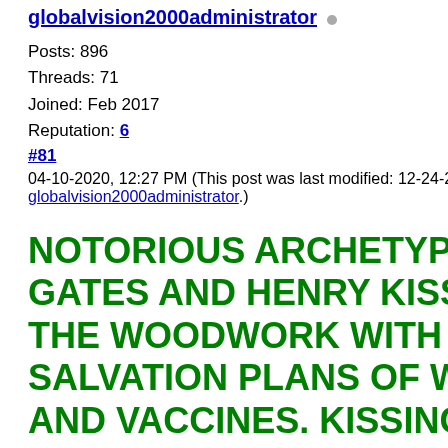globalvision2000administrator
Posts: 896
Threads: 71
Joined: Feb 2017
Reputation: 6
#81
04-10-2020, 12:27 PM (This post was last modified: 12-24-2020, 09:... globalvision2000administrator.)
NOTORIOUS ARCHETYPE GLOBALIS... GATES AND HENRY KISSINGER COM... THE WOODWORK WITH THEIR GLO... SALVATION PLANS OF WORLD GOVE... AND VACCINES. KISSINGER WHO SHO... TURNING IN HIS GRAVE AT HIS AGE ... THREATENS WW3 IF HE IS NOT HEEL... WILL BE UNWRAPPED HEREWITH AS ... GLOBAL COUP AND POWER GRAB CAN... SUCCEED UNTIL THE EXISTING ORDE...